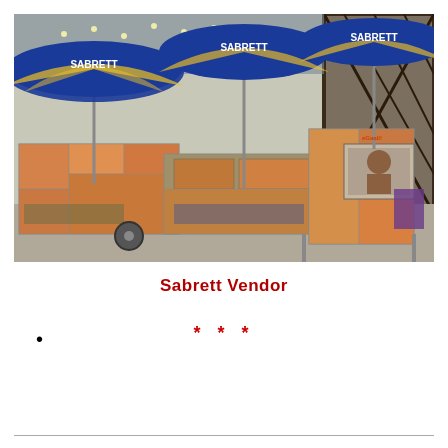[Figure (photo): A row of Sabrett hot dog vendor carts on a city street, each with large blue and yellow Sabrett umbrellas and colorful food photo menus covering the carts. A vendor is visible behind one of the carts. The sidewalk and an ornate building facade are visible in the background.]
Sabrett Vendor
* * *